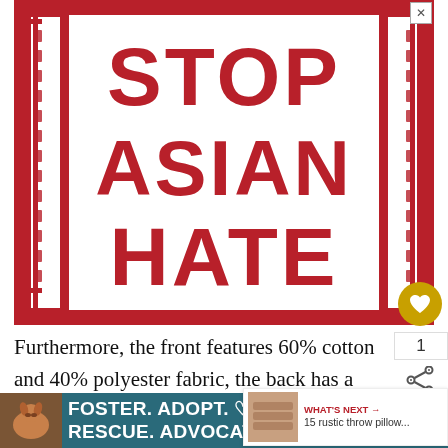[Figure (illustration): Stop Asian Hate sign: red background with white inner panel containing bold red block letters reading STOP ASIAN HATE in three lines, with decorative Asian-style bracket borders on left and right sides. A small X close button is in the top right corner.]
Furthermore, the front features 60% cotton and 40% polyester fabric, the back has a 70%/30% blend of polyester and cotton respectively become more evidently clear you run you hand ac... y will co... lity.
[Figure (infographic): What's Next widget showing thumbnail of rustic throw pillows with text: WHAT'S NEXT → 15 rustic throw pillow...]
[Figure (illustration): Bottom advertisement banner with dark teal background featuring a dog photo on the left and bold white text reading: FOSTER. ADOPT. ♡ ♡ RESCUE. ADVOCATE. with a close X button in top right.]